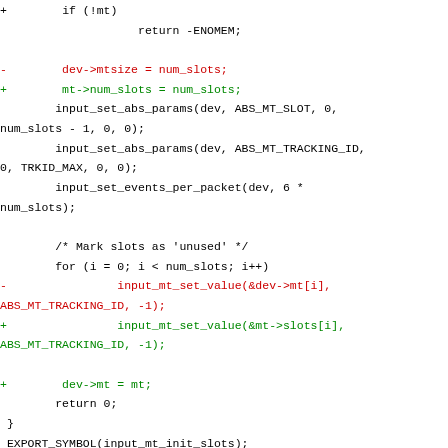Code diff showing changes to input_mt_init_slots and input_mt_destroy_slots functions